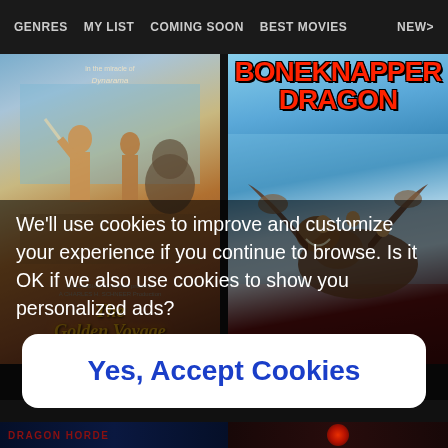GENRES   MY LIST   COMING SOON   BEST MOVIES   NEW>
[Figure (photo): Movie poster for 'The Golden Voyage of Sinbad' – fantasy adventure film poster with warriors and mythological figures, in the miracle of Dynarama; golden script title at bottom.]
[Figure (photo): Movie poster for 'Boneknapper Dragon' – animated dragon film poster showing dragons and Viking riders in flight against a sky background.]
We'll use cookies to improve and customize your experience if you continue to browse. Is it OK if we also use cookies to show you personalized ads?
Yes, Accept Cookies
[Figure (screenshot): Bottom strip showing partial movie thumbnails: left side shows 'DRAGON HORDE' title text on dark blue background with silhouette, right side shows a red circular glowing shape on dark background.]